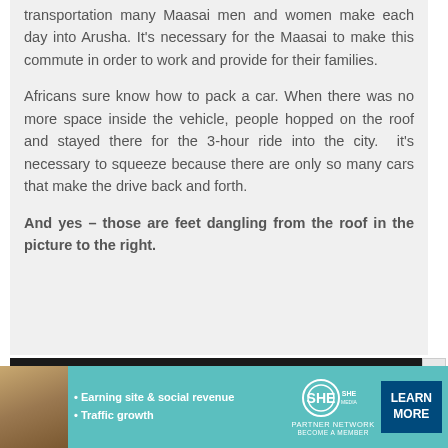transportation many Maasai men and women make each day into Arusha. It's necessary for the Maasai to make this commute in order to work and provide for their families.

Africans sure know how to pack a car. When there was no more space inside the vehicle, people hopped on the roof and stayed there for the 3-hour ride into the city.  it's necessary to squeeze because there are only so many cars that make the drive back and forth.

And yes – those are feet dangling from the roof in the picture to the right.
[Figure (photo): Dark image, partially visible, showing roof of vehicle]
[Figure (infographic): Advertisement banner for SHE Media Partner Network. Teal/turquoise background. Shows woman photo on left, bullet points: Earning site & social revenue, Traffic growth. SHE logo in center. LEARN MORE button on right. PARTNER NETWORK / BECOME A MEMBER text.]